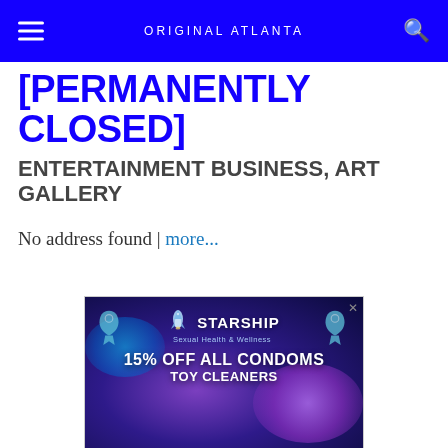ORIGINAL ATLANTA
[PERMANENTLY CLOSED]
ENTERTAINMENT BUSINESS, ART GALLERY
No address found | more...
[Figure (illustration): Advertisement for Starship Sexual Health & Wellness: '15% OFF ALL CONDOMS TOY CLEANERS' with ribbon logos and rocket graphic on a purple/blue galaxy background.]